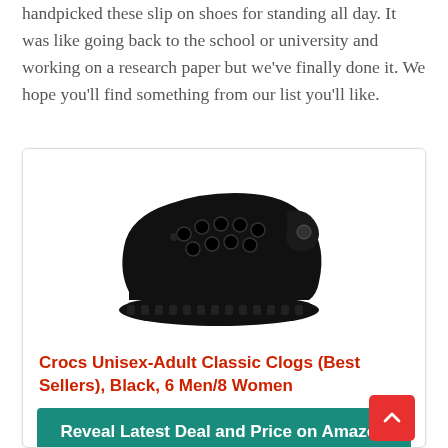handpicked these slip on shoes for standing all day. It was like going back to the school or university and working on a research paper but we've finally done it. We hope you'll find something from our list you'll like.
[Figure (photo): Black Crocs classic clog shoe on white background]
Crocs Unisex-Adult Classic Clogs (Best Sellers), Black, 6 Men/8 Women
Reveal Latest Deal and Price on Amazon